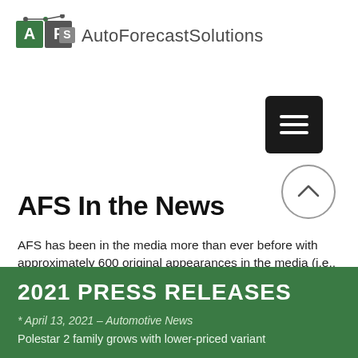[Figure (logo): AutoForecastSolutions logo with AFS letters in green/grey squares and connected dots graphic, followed by text 'AutoForecastSolutions' in grey]
[Figure (other): Black rounded-square hamburger menu button with three white horizontal lines]
[Figure (other): Circle outline up-arrow / chevron button]
AFS In the News
AFS has been in the media more than ever before with approximately 600 original appearances in the media (i.e., not counting re-shares) plus almost 100 references in videos! Check out AFS in the news below.
2021 PRESS RELEASES
* April 13, 2021 – Automotive News
Polestar 2 family grows with lower-priced variant